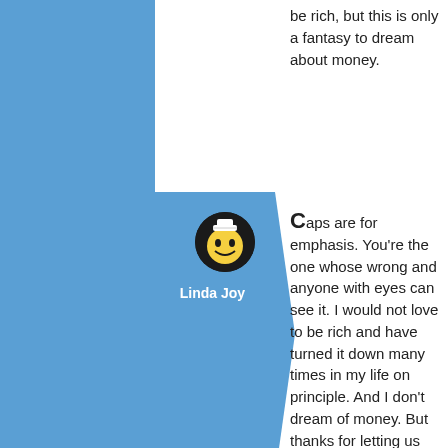be rich, but this is only a fantasy to dream about money.
[Figure (illustration): Blue sidebar layout with user profile avatar (cartoon face with hat in black circle) and username 'Linda Joy' in white text, with arrow/chevron pointing right]
Caps are for emphasis. You're the one whose wrong and anyone with eyes can see it. I would not love to be rich and have turned it down many times in my life on principle. And I don't dream of money. But thanks for letting us know your true views about it.